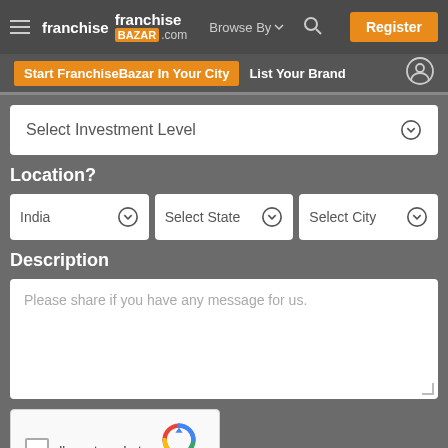[Figure (screenshot): FranchiseBazar.com navigation bar with logo, Browse By dropdown, search icon, and Register button]
[Figure (screenshot): Sub-navigation bar with 'Start FranchiseBazar In Your City' orange button, 'List Your Brand' text, and user profile icon]
Select Investment Level
Location?
India
Select State
Select City
Description
Please share if you have any message for us.
[Figure (screenshot): reCAPTCHA widget with checkbox, 'I'm not a robot' label, reCAPTCHA logo and Privacy/Terms links]